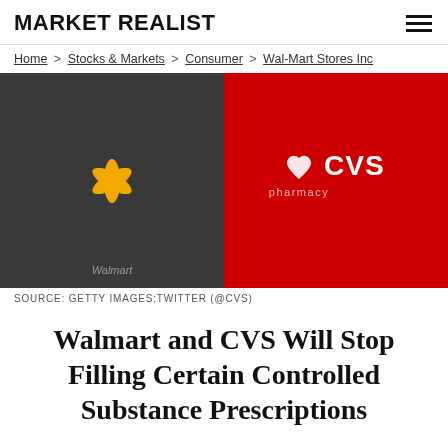MARKET REALIST
Home > Stocks & Markets > Consumer > Wal-Mart Stores Inc
[Figure (photo): Side-by-side logos: Walmart (dark background with yellow spark/asterisk logo) on the left, CVS pharmacy (red background with white heart and CVS text) on the right.]
SOURCE: GETTY IMAGES;TWITTER (@CVS)
Walmart and CVS Will Stop Filling Certain Controlled Substance Prescriptions